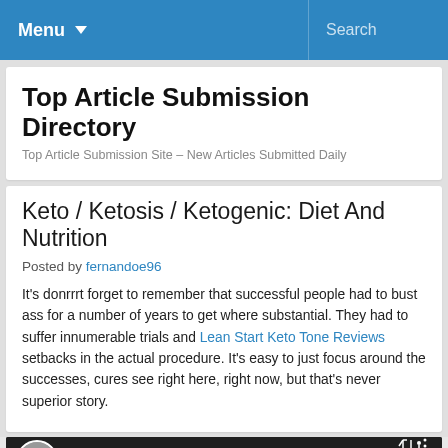Menu ▾   Search
Top Article Submission Directory
Top Article Submission Site – New Articles Submitted Daily
Keto / Ketosis / Ketogenic: Diet And Nutrition
Posted by fernandoe96
It's donrrrt forget to remember that successful people had to bust ass for a number of years to get where substantial. They had to suffer innumerable trials and Lean Start Keto Tone Reviews setbacks in the actual procedure. It's easy to just focus around the successes, cures see right here, right now, but that's never superior story.
[Figure (screenshot): YouTube video thumbnail for '90 Second Microwavable Low Car...' with Nicko's Kitchen branding, showing a cooked food item (appears to be a low-carb bread/muffin) with a play button overlay.]